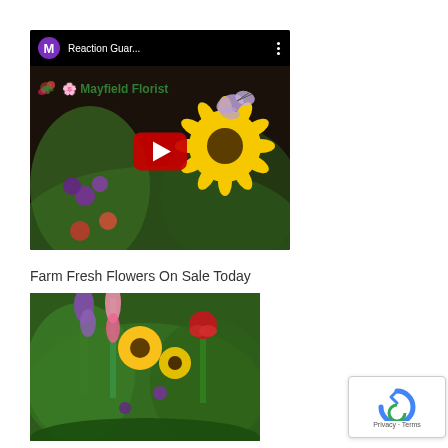[Figure (screenshot): YouTube video thumbnail for 'Reaction Guar...' from Mayfield Florist channel. Shows a colorful flower arrangement with sunflowers, purple and red flowers. Has YouTube play button overlay. Channel icon is purple circle with letter M.]
Farm Fresh Flowers On Sale Today
[Figure (photo): Photo of a farm fresh flower arrangement featuring yellow sunflowers, red roses, purple flowers, and pink snapdragons.]